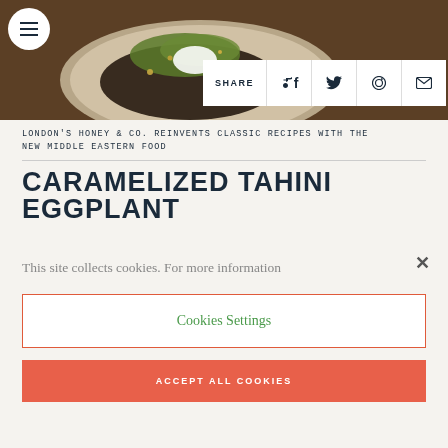[Figure (photo): Photo of a food dish (eggplant with herbs, yogurt, pistachios) in a bowl on a wooden table, with hamburger menu icon and social share bar overlay]
LONDON'S HONEY & CO. REINVENTS CLASSIC RECIPES WITH THE NEW MIDDLE EASTERN FOOD
CARAMELIZED TAHINI EGGPLANT
This site collects cookies. For more information
Cookies Settings
ACCEPT ALL COOKIES